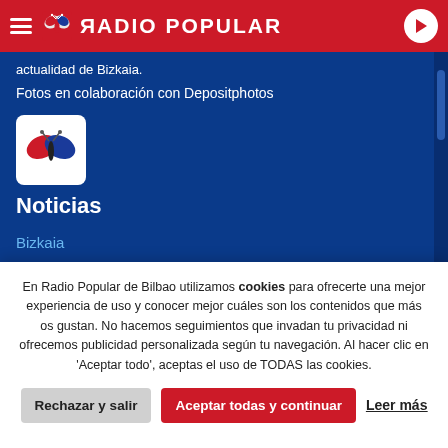RADIO POPULAR
actualidad de Bizkaia.
Fotos en colaboración con Depositphotos
[Figure (logo): Radio Popular butterfly logo — red and blue butterfly icon on white rounded square]
Noticias
Bizkaia
Ciencia y salud
Cultura
Deportes
En Radio Popular de Bilbao utilizamos cookies para ofrecerte una mejor experiencia de uso y conocer mejor cuáles son los contenidos que más os gustan. No hacemos seguimientos que invadan tu privacidad ni ofrecemos publicidad personalizada según tu navegación. Al hacer clic en 'Aceptar todo', aceptas el uso de TODAS las cookies.